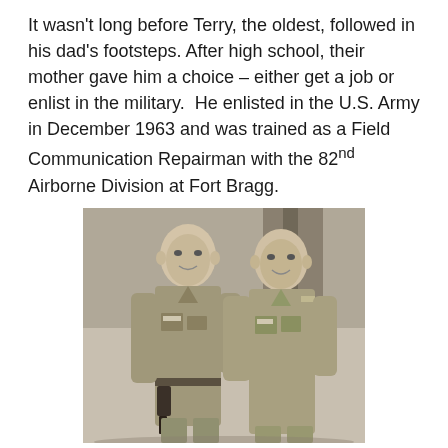It wasn't long before Terry, the oldest, followed in his dad's footsteps. After high school, their mother gave him a choice – either get a job or enlist in the military.  He enlisted in the U.S. Army in December 1963 and was trained as a Field Communication Repairman with the 82nd Airborne Division at Fort Bragg.
[Figure (photo): Black and white photograph of two men in U.S. Army military uniforms, smiling and standing together. The man on the left is older and the man on the right is younger. Both are wearing military fatigues with name tags and insignia. A holster with a pistol is visible on the left man's belt.]